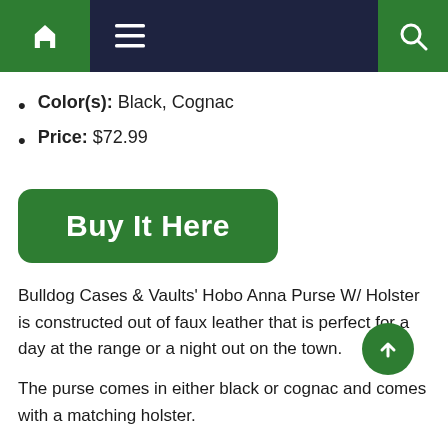[Figure (screenshot): Navigation bar with home icon (green background), hamburger menu icon, and search icon (green background) on dark navy background]
Color(s): Black, Cognac
Price: $72.99
[Figure (other): Green rounded rectangle button labeled 'Buy It Here']
Bulldog Cases & Vaults' Hobo Anna Purse W/ Holster is constructed out of faux leather that is perfect for a day at the range or a night out on the town.
The purse comes in either black or cognac and comes with a matching holster.
The rear side of the purse comes with a zippered concealed